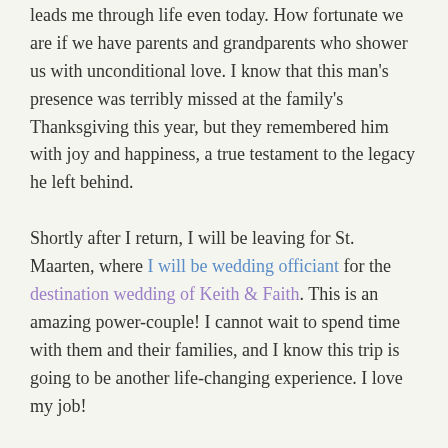leads me through life even today.  How fortunate we are if we have parents and grandparents who shower us with unconditional love.  I know that this man's presence was terribly missed at the family's Thanksgiving this year, but they remembered him with joy and happiness, a true testament to the legacy he left behind.
Shortly after I return, I will be leaving for St. Maarten, where I will be wedding officiant for the destination wedding of Keith & Faith.  This is an amazing power-couple!  I cannot wait to spend time with them and their families, and I know this trip is going to be another life-changing experience.  I love my job!
Stay tuned, and have a very Happy Thanksgiving weekend.